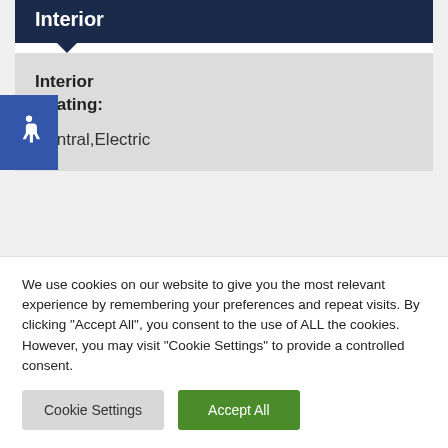Interior
| Field | Value |
| --- | --- |
| Interior Heating: | Central,Electric |
| Interior Features: | Pantry,Walk-in Closet |
We use cookies on our website to give you the most relevant experience by remembering your preferences and repeat visits. By clicking "Accept All", you consent to the use of ALL the cookies. However, you may visit "Cookie Settings" to provide a controlled consent.